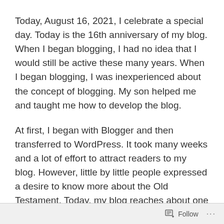Today, August 16, 2021, I celebrate a special day. Today is the 16th anniversary of my blog. When I began blogging, I had no idea that I would still be active these many years. When I began blogging, I was inexperienced about the concept of blogging. My son helped me and taught me how to develop the blog.
At first, I began with Blogger and then transferred to WordPress. It took many weeks and a lot of effort to attract readers to my blog. However, little by little people expressed a desire to know more about the Old Testament. Today, my blog reaches about one million people every year. These readers come from 208 countries and territories.
Follow ···